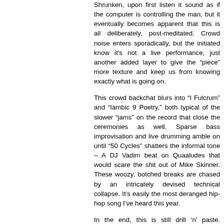Shrunken, upon first listen it sound as if the computer is controlling the man, but it eventually becomes apparent that this is all deliberately, post-meditated. Crowd noise enters sporadically, but the initiated know it's not a live performance, just another added layer to give the "piece" more texture and keep us from knowing exactly what is going on.
This crowd backchat blurs into "I Fulcrum" and "Iambic 9 Poetry," both typical of the slower "jams" on the record that close the ceremonies as well. Sparse bass improvisation and live drumming amble on until "50 Cycles" shatters the informal tone – A DJ Vadim beat on Quaaludes that would scare the shit out of Mike Skinner. These woozy, botched breaks are chased by an intricately devised technical collapse. It's easily the most deranged hip-hop song I've heard this year.
In the end, this is still drill 'n' paste. Jenkinson loves to take a jackhammer to musique concrete, but he also seems to be inspired by Pat Metheny and Jaco Pastorius, and allows the music to breathe in spots. It's rare to find an album so deep into an artist's career – especially one as varied as Jenkinson's – that so perfectly captures the full spectrum of his work. A difficult, flawed record that's predictably too long, making the highs all the more rewarding.